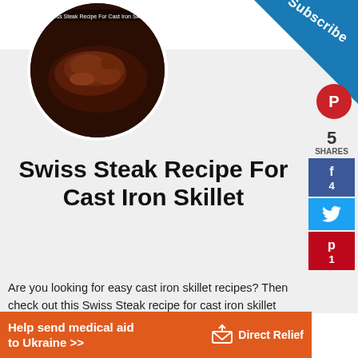[Figure (photo): Circular thumbnail of a cooked Swiss steak in a cast iron skillet, dark brown seared meat with text overlay at top reading 'Swiss Steak Recipe For Cast Iron Skillet']
[Figure (infographic): Blue triangular Subscribe banner in top-right corner with 'Subscribe' text and Pinterest icon below]
[Figure (infographic): Social share sidebar on right: 5 SHARES, Facebook (4), Twitter, Pinterest (1)]
Swiss Steak Recipe For Cast Iron Skillet
Are you looking for easy cast iron skillet recipes? Then check out this Swiss Steak recipe for cast iron skillet that bakes in the oven.
[Figure (screenshot): Video player area showing gray background with text: No compatible source was found for this media.]
[Figure (infographic): Orange ad banner: 'Help send medical aid to Ukraine >>' with Direct Relief logo]